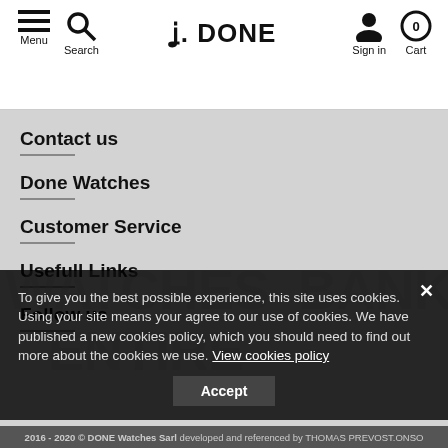Menu  Search  D. DONE  Sign in  Cart
Contact us
Done Watches
Customer Service
Usefull Links
Follow us
2016 - 2020 © DONE Watches Sarl developed and referenced by THOMAS PREVOST.ONSO
To give you the best possible experience, this site uses cookies. Using your site means your agree to our use of cookies. We have published a new cookies policy, which you should need to find out more about the cookies we use. View cookies policy  Accept